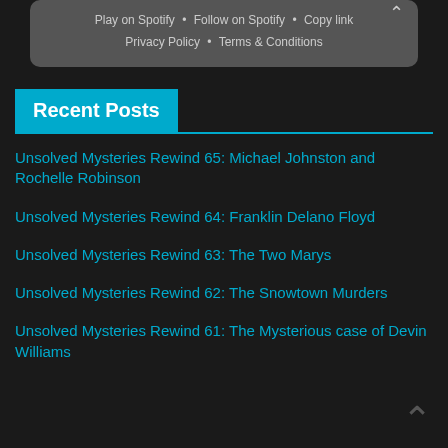Play on Spotify • Follow on Spotify • Copy link
Privacy Policy • Terms & Conditions
Recent Posts
Unsolved Mysteries Rewind 65: Michael Johnston and Rochelle Robinson
Unsolved Mysteries Rewind 64: Franklin Delano Floyd
Unsolved Mysteries Rewind 63: The Two Marys
Unsolved Mysteries Rewind 62: The Snowtown Murders
Unsolved Mysteries Rewind 61: The Mysterious case of Devin Williams